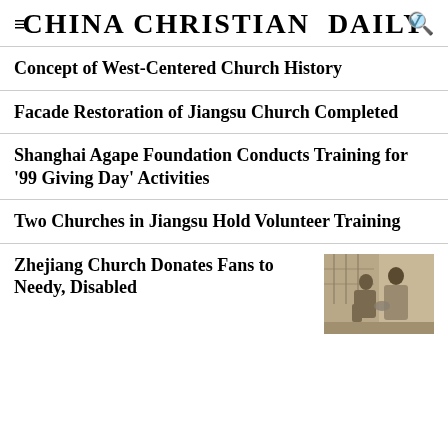CHINA CHRISTIAN DAILY
Concept of West-Centered Church History
Facade Restoration of Jiangsu Church Completed
Shanghai Agape Foundation Conducts Training for '99 Giving Day' Activities
Two Churches in Jiangsu Hold Volunteer Training
Zhejiang Church Donates Fans to Needy, Disabled
[Figure (photo): Two people, one appearing to help the other, indoor setting, black and white or sepia tone photograph]